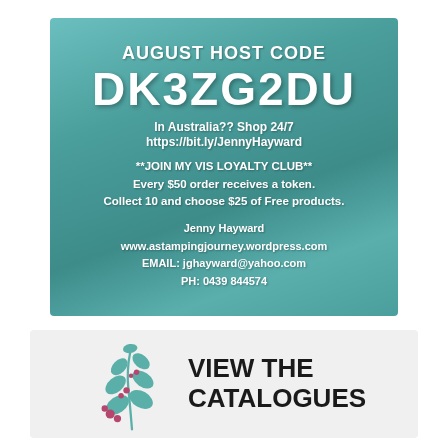[Figure (infographic): Teal wooden panel background banner with August Host Code DK3ZG2DU, shop info, loyalty club info, and contact details for Jenny Hayward]
[Figure (infographic): Light gray banner with a teal and pink botanical leaf illustration on the left and bold text VIEW THE CATALOGUES on the right]